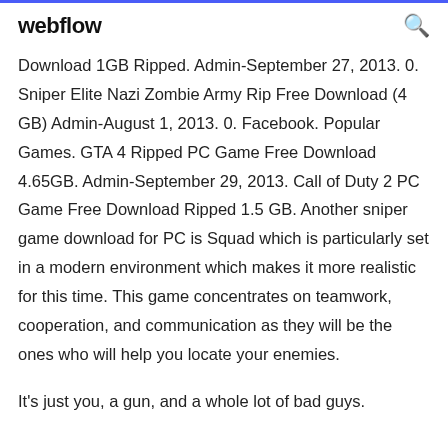webflow
Download 1GB Ripped. Admin-September 27, 2013. 0. Sniper Elite Nazi Zombie Army Rip Free Download (4 GB) Admin-August 1, 2013. 0. Facebook. Popular Games. GTA 4 Ripped PC Game Free Download 4.65GB. Admin-September 29, 2013. Call of Duty 2 PC Game Free Download Ripped 1.5 GB. Another sniper game download for PC is Squad which is particularly set in a modern environment which makes it more realistic for this time. This game concentrates on teamwork, cooperation, and communication as they will be the ones who will help you locate your enemies.
It's just you, a gun, and a whole lot of bad guys.